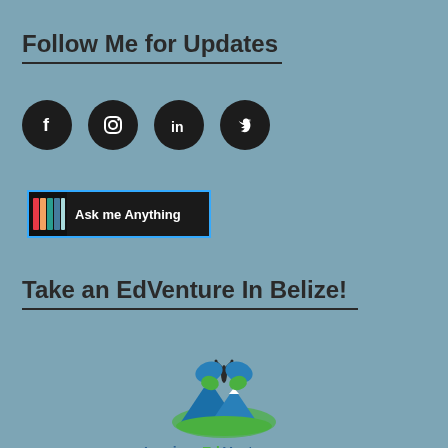Follow Me for Updates
[Figure (infographic): Four social media icon circles: Facebook (f), Instagram (camera/circle), LinkedIn (in), Twitter (bird)]
[Figure (infographic): Ask me Anything banner button with rainbow colored left section and dark background]
Take an EdVenture In Belize!
[Figure (logo): Inspire EdVentures logo with a stylized butterfly/insect over mountains with green and blue colors, text 'Inspire EdVentures' below]